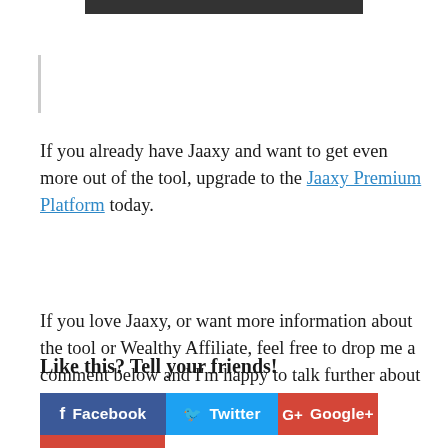[Figure (other): Dark bar/banner at top of page]
If you already have Jaaxy and want to get even more out of the tool, upgrade to the Jaaxy Premium Platform today.
If you love Jaaxy, or want more information about the tool or Wealthy Affiliate, feel free to drop me a comment below and I'm happy to talk further about either subject.
Like this? Tell your friends!
[Figure (infographic): Social share buttons: Facebook, Twitter, Google+]